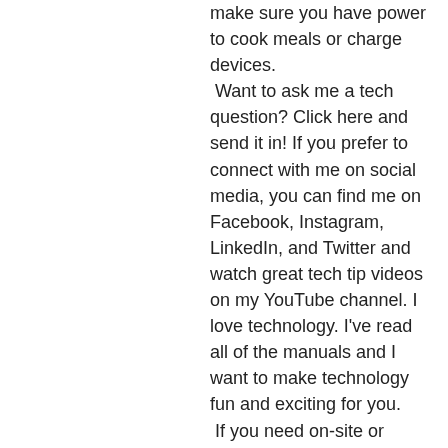make sure you have power to cook meals or charge devices. Want to ask me a tech question? Click here and send it in! If you prefer to connect with me on social media, you can find me on Facebook, Instagram, LinkedIn, and Twitter and watch great tech tip videos on my YouTube channel. I love technology. I've read all of the manuals and I want to make technology fun and exciting for you. If you need on-site or remote tech support for your Windows\Macintosh, computers, laptops, Android/Apple smartphone, tablets, printers, routers, smart home devices, and anything that connects to the Internet, please feel free to contact my team at Integral. My team of